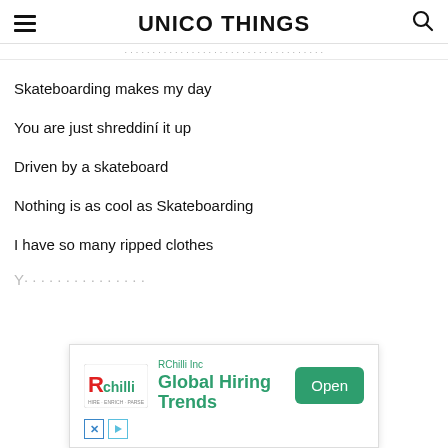UNICO THINGS
Skateboarding makes my day
You are just shreddiní it up
Driven by a skateboard
Nothing is as cool as Skateboarding
I have so many ripped clothes
[Figure (screenshot): Advertisement banner for RChilli Inc showing Global Hiring Trends with an Open button]